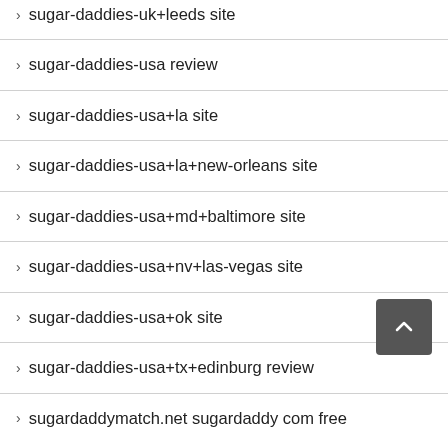sugar-daddies-uk+leeds site
sugar-daddies-usa review
sugar-daddies-usa+la site
sugar-daddies-usa+la+new-orleans site
sugar-daddies-usa+md+baltimore site
sugar-daddies-usa+nv+las-vegas site
sugar-daddies-usa+ok site
sugar-daddies-usa+tx+edinburg review
sugardaddymatch.net sugardaddy com free